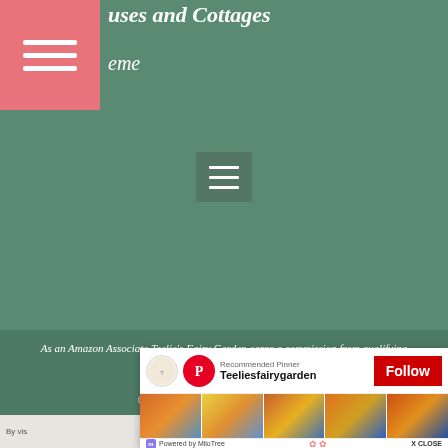[Figure (screenshot): Green website header with pink hamburger menu button on left, italic white text partially visible reading '...uses and Cottages' and '...eme', and a center hamburger menu icon on green background]
As an Amazon Associate Teelie's Fairy Garden earns a commission from qualifying purchases.
© Copyright – Teelies Fairy Garden
[Figure (screenshot): MiloTree Pinterest popup overlay showing Recommended Pinner Teeliesfairygarden with Follow button and image strip of colorful cupcake/cake photos, Powered by MiloTree footer with X CLOSE button]